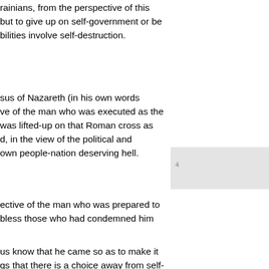rainians, from the perspective of this but to give up on self-government or be bilities involve self-destruction.
[Figure (other): Grey rectangle/box element]
sus of Nazareth (in his own words ve of the man who was executed as the was lifted-up on that Roman cross as d, in the view of the political and own people-nation deserving hell.
ective of the man who was prepared to bless those who had condemned him
us know that he came so as to make it gs that there is a choice away from self- which may be taken by everyone and life.
? It seems earth is coming closer to e above it on our own? Or do we need a uction?